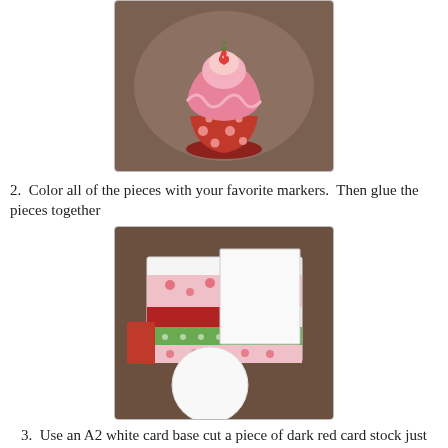[Figure (photo): A handmade cupcake craft decoration with pink frosting and a strawberry on top, sitting on a red polka-dot cupcake base, on a textured brown background.]
2.  Color all of the pieces with your favorite markers.  Then glue the pieces together
[Figure (photo): Craft supplies laid out on a brown surface: patterned papers with strawberry/hearts designs in red and pink, a green polka-dot strip, a red piece, a white card base, and a large white circle cutout.]
3.  Use an A2 white card base cut a piece of dark red card stock just slightly smaller then the card front.  Cut a piece of